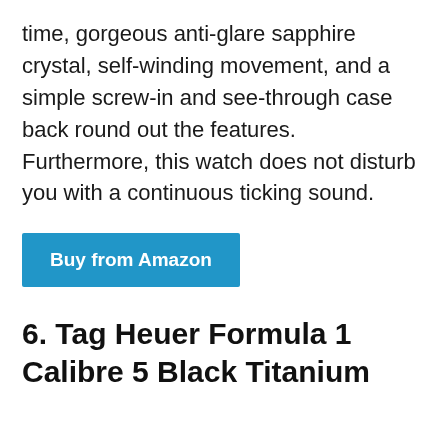time, gorgeous anti-glare sapphire crystal, self-winding movement, and a simple screw-in and see-through case back round out the features. Furthermore, this watch does not disturb you with a continuous ticking sound.
Buy from Amazon
6. Tag Heuer Formula 1 Calibre 5 Black Titanium